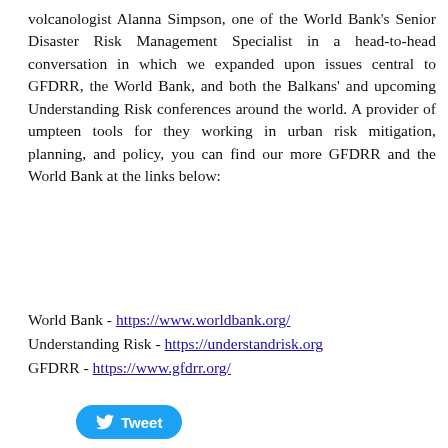volcanologist Alanna Simpson, one of the World Bank's Senior Disaster Risk Management Specialist in a head-to-head conversation in which we expanded upon issues central to GFDRR, the World Bank, and both the Balkans' and upcoming Understanding Risk conferences around the world. A provider of umpteen tools for they working in urban risk mitigation, planning, and policy, you can find our more GFDRR and the World Bank at the links below:
World Bank - https://www.worldbank.org/
Understanding Risk - https://understandrisk.org
GFDRR - https://www.gfdrr.org/
[Figure (other): Twitter Tweet button in blue with bird icon]